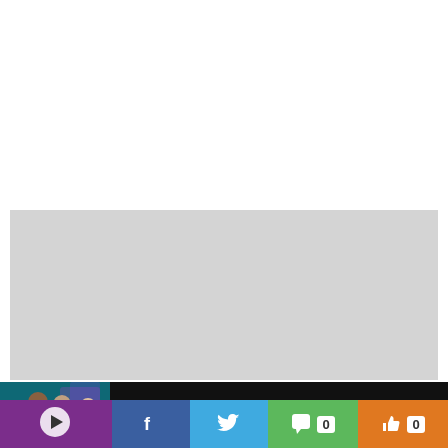Read the latest West Ham news!
[Figure (screenshot): Video thumbnail showing people with 'Live watchalong of the KSI vs Swarmz vs Pineda' text and close button]
Live watchalong of the KSI vs Swarmz vs Pineda
[Figure (infographic): Social sharing bar with purple, Facebook, Twitter, comment counter (0), like counter (0), and orange sections]